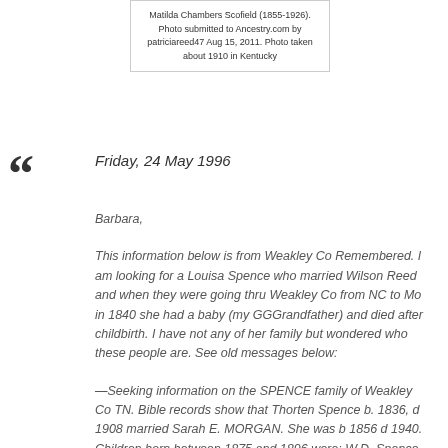Matilda Chambers Scofield (1855-1926). Photo submitted to Ancestry.com by patriciareed47 Aug 15, 2011. Photo taken about 1910 in Kentucky
Friday, 24 May 1996
Barbara,
This information below is from Weakley Co Remembered. I am looking for a Louisa Spence who married Wilson Reed and when they were going thru Weakley Co from NC to Mo in 1840 she had a baby (my GGGrandfather) and died after childbirth. I have not any of her family but wondered who these people are. See old messages below:
—Seeking information on the SPENCE family of Weakley Co TN. Bible records show that Thorten Spence b. 1836, d 1908 married Sarah E. MORGAN. She was b 1856 d 1940. Children born between 1875 and 1896 were: W.D. Spence, Jim J. Spence, N.L. Spence, Sarah Elizabeth Spence, Robert Rain Spence